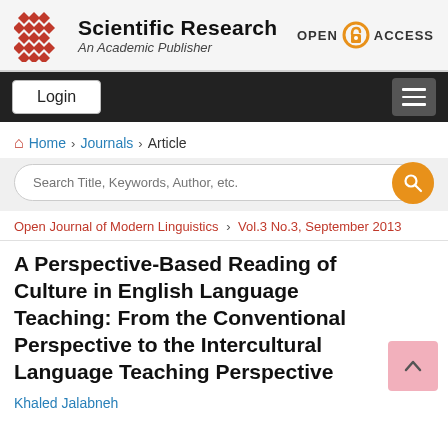[Figure (logo): Scientific Research publisher logo with red diamond grid pattern, text 'Scientific Research An Academic Publisher' and 'OPEN ACCESS' badge]
Login  [hamburger menu]
Home > Journals > Article
Search Title, Keywords, Author, etc.
Open Journal of Modern Linguistics > Vol.3 No.3, September 2013
A Perspective-Based Reading of Culture in English Language Teaching: From the Conventional Perspective to the Intercultural Language Teaching Perspective
Khaled Jalabneh